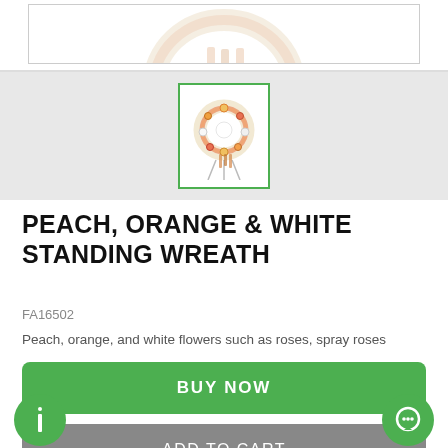[Figure (photo): Top portion of a floral product image (cropped, mostly white)]
[Figure (photo): Thumbnail of Peach, Orange & White Standing Wreath on a stand, shown in a green-bordered thumbnail box on a gray strip]
PEACH, ORANGE & WHITE STANDING WREATH
FA16502
Peach, orange, and white flowers such as roses, spray roses
BUY NOW
ADD TO CART